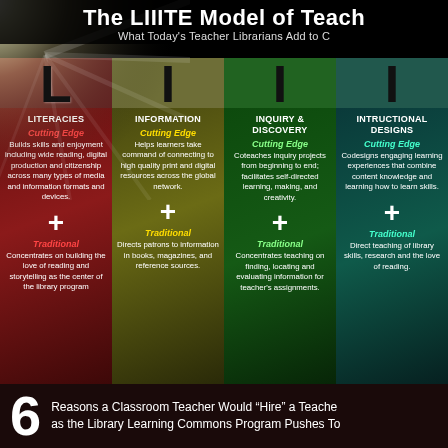The LIIITE Model of Teach
What Today's Teacher Librarians Add to [the Classroom]
[Figure (infographic): LIIITE Model infographic with four columns: Literacies (L), Information (I), Inquiry & Discovery (I), Instructional Designs (I). Each column has Cutting Edge and Traditional sections with descriptive text. Light burst graphic on left. Bottom bar shows '6 Reasons a Classroom Teacher Would Hire a Teacher Librarian as the Library Learning Commons Program Pushes Toward...']
LITERACIES
INFORMATION
INQUIRY & DISCOVERY
INTRUCTIONAL DESIGNS
Cutting Edge - Builds skills and enjoyment including wide reading, digital production and citizenship across many types of media and information formats and devices.
Cutting Edge - Helps learners take command of connecting to high quality print and digital resources across the global network.
Cutting Edge - Coteaches inquiry projects from beginning to end; facilitates self-directed learning, making, and creativity.
Cutting Edge - Codesigns engaging learning experiences that combine content knowledge and learning how to learn skills.
Traditional - Concentrates on building the love of reading and storytelling as the center of the library program
Traditional - Directs patrons to information in books, magazines, and reference sources.
Traditional - Concentrates teaching on finding, locating and evaluating information for teacher's assignments.
Traditional - Direct teaching of library skills, research and the love of reading.
6 Reasons a Classroom Teacher Would "Hire" a Teacher Librarian as the Library Learning Commons Program Pushes To[ward]